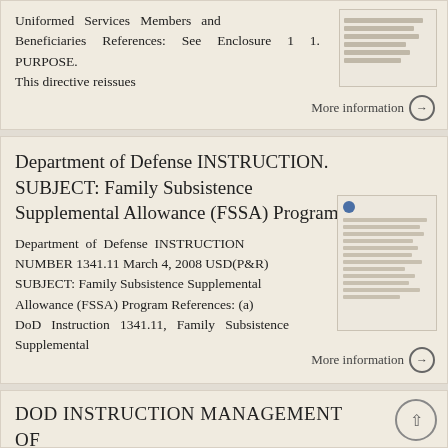Uniformed Services Members and Beneficiaries References: See Enclosure 1 1. PURPOSE. This directive reissues
More information →
Department of Defense INSTRUCTION. SUBJECT: Family Subsistence Supplemental Allowance (FSSA) Program
Department of Defense INSTRUCTION NUMBER 1341.11 March 4, 2008 USD(P&R) SUBJECT: Family Subsistence Supplemental Allowance (FSSA) Program References: (a) DoD Instruction 1341.11, Family Subsistence Supplemental
More information →
DOD INSTRUCTION MANAGEMENT OF